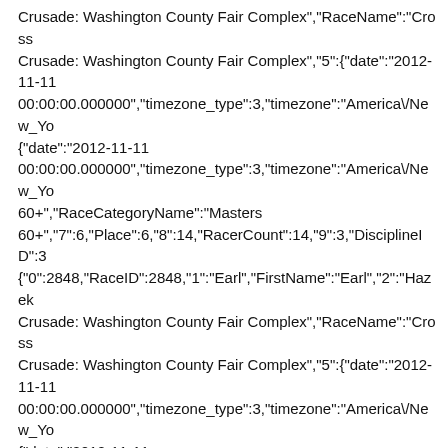Crusade: Washington County Fair Complex","RaceName":"Cross Crusade: Washington County Fair Complex","5":{"date":"2012-11-11 00:00:00.000000","timezone_type":3,"timezone":"America\/New_Yo {"date":"2012-11-11 00:00:00.000000","timezone_type":3,"timezone":"America\/New_Yo 60+","RaceCategoryName":"Masters 60+","7":6,"Place":6,"8":14,"RacerCount":14,"9":3,"DisciplineID":3 {"0":2848,"RaceID":2848,"1":"Earl","FirstName":"Earl","2":"Hazek Crusade: Washington County Fair Complex","RaceName":"Cross Crusade: Washington County Fair Complex","5":{"date":"2012-11-11 00:00:00.000000","timezone_type":3,"timezone":"America\/New_Yo {"date":"2012-11-11 00:00:00.000000","timezone_type":3,"timezone":"America\/New_Yo 35+ C","RaceCategoryName":"Masters 35+ C","7":55,"Place":55,"8":154,"RacerCount":154,"9":3,"DisciplineID {"0":2848,"RaceID":2848,"1":"James","FirstName":"James","2":"O Crusade: Washington County Fair Complex","RaceName":"Cross Crusade: Washington County Fair Complex","5":{"date":"2012-11-11 00:00:00.000000","timezone_type":3,"timezone":"America\/New_Yo {"date":"2012-11-11 00:00:00.000000","timezone_type":3,"timezone":"America\/New_Yo 35+ C","RaceCategoryName":"Masters 35+